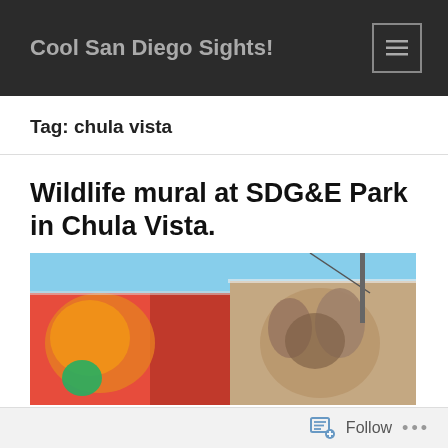Cool San Diego Sights!
Tag: chula vista
Wildlife mural at SDG&E Park in Chula Vista.
[Figure (photo): Colorful wildlife mural painted on the side of a building at SDG&E Park in Chula Vista. The mural shows vibrant red, orange, and yellow colors on the left and a detailed animal painting on the right, against a blue sky background.]
Follow ...